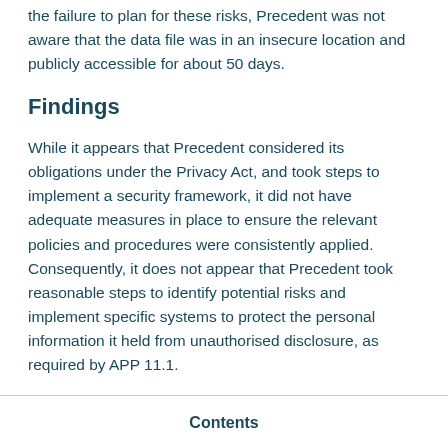the failure to plan for these risks, Precedent was not aware that the data file was in an insecure location and publicly accessible for about 50 days.
Findings
While it appears that Precedent considered its obligations under the Privacy Act, and took steps to implement a security framework, it did not have adequate measures in place to ensure the relevant policies and procedures were consistently applied. Consequently, it does not appear that Precedent took reasonable steps to identify potential risks and implement specific systems to protect the personal information it held from unauthorised disclosure, as required by APP 11.1.
Contents